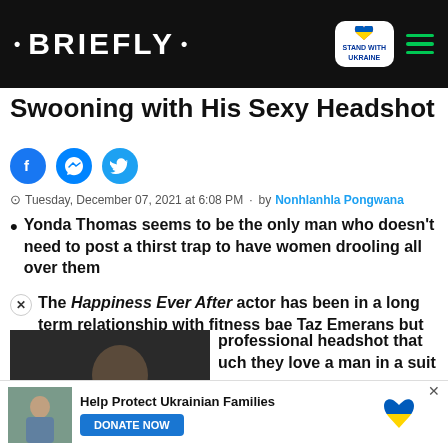BRIEFLY
Swooning with His Sexy Headshot
Tuesday, December 07, 2021 at 6:08 PM · by Nonhlanhla Pongwana
Yonda Thomas seems to be the only man who doesn't need to post a thirst trap to have women drooling all over them
The Happiness Ever After actor has been in a long term relationship with fitness bae Taz Emerans but won't stop
[Figure (photo): Video thumbnail showing a person, with play button overlay]
professional headshot that uch they love a man in a suit
t" under the "Following" tab
[Figure (photo): Bottom banner with Help Protect Ukrainian Families and DONATE NOW button]